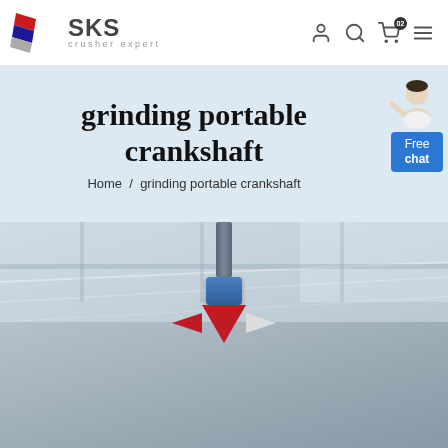SKS crusher expert
grinding portable crankshaft
Home / grinding portable crankshaft
[Figure (photo): Industrial crane or grinding machine photographed from below in a factory/warehouse setting, showing a blue and red mechanical assembly suspended from the ceiling.]